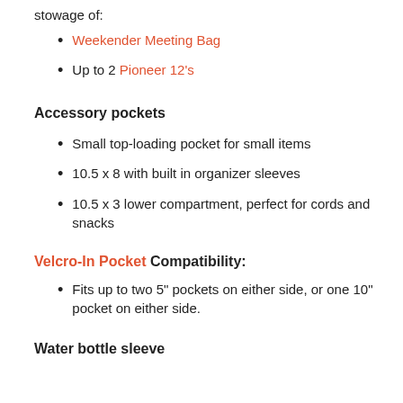stowage of:
Weekender Meeting Bag
Up to 2 Pioneer 12's
Accessory pockets
Small top-loading pocket for small items
10.5 x 8 with built in organizer sleeves
10.5 x 3 lower compartment, perfect for cords and snacks
Velcro-In Pocket Compatibility:
Fits up to two 5" pockets on either side, or one 10" pocket on either side.
Water bottle sleeve